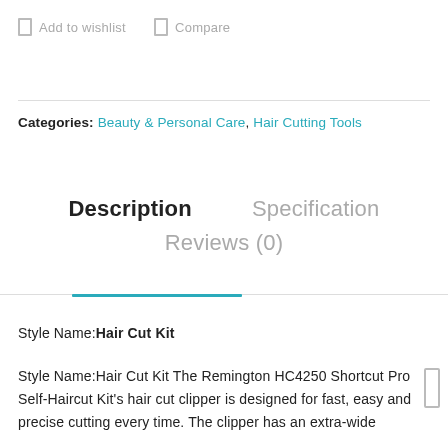Add to wishlist  Compare
Categories: Beauty & Personal Care, Hair Cutting Tools
Description  Specification  Reviews (0)
Style Name:Hair Cut Kit
Style Name:Hair Cut Kit The Remington HC4250 Shortcut Pro Self-Haircut Kit's hair cut clipper is designed for fast, easy and precise cutting every time. The clipper has an extra-wide